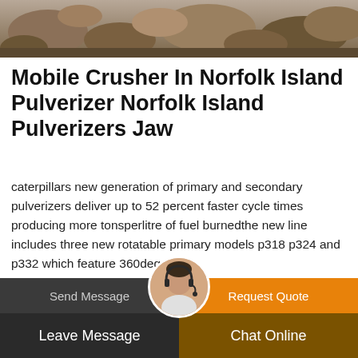[Figure (photo): Rocks and gravel terrain, top banner image]
Mobile Crusher In Norfolk Island Pulverizer Norfolk Island Pulverizers Jaw
caterpillars new generation of primary and secondary pulverizers deliver up to 52 percent faster cycle times producing more tonsperlitre of fuel burnedthe new line includes three new rotatable primary models p318 p324 and p332 which feature 360degree…
query@sinoftm.com
Send Message    Request Quote    Leave Message    Chat Online